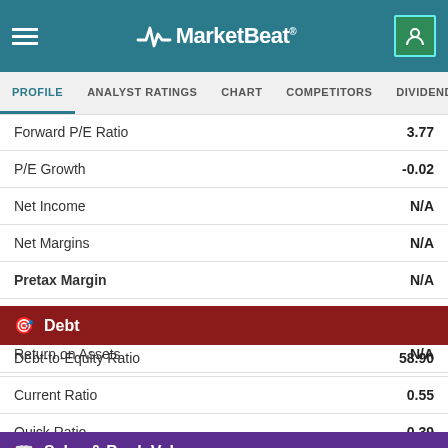MarketBeat
PROFILE | ANALYST RATINGS | CHART | COMPETITORS | DIVIDEND | EARNINGS
| Metric | Value |
| --- | --- |
| Forward P/E Ratio | 3.77 |
| P/E Growth | -0.02 |
| Net Income | N/A |
| Net Margins | N/A |
| Pretax Margin | N/A |
| Return on Equity | N/A |
| Return on Assets | N/A |
Debt
| Metric | Value |
| --- | --- |
| Debt-to-Equity Ratio | 58.90 |
| Current Ratio | 0.55 |
| Quick Ratio | 0.39 |
Sales & Book Value